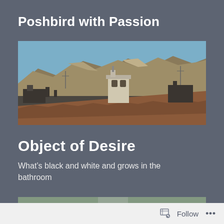Poshbird with Passion
[Figure (photo): Panoramic photo of rooftops with terracotta tiles and a small tower/cupola, with mountains in the background under a clear blue sky.]
Object of Desire
What’s black and white and grows in the bathroom
[Figure (photo): Partial thumbnail of a photo with green/grey tones, partially visible at bottom of page.]
Follow ...